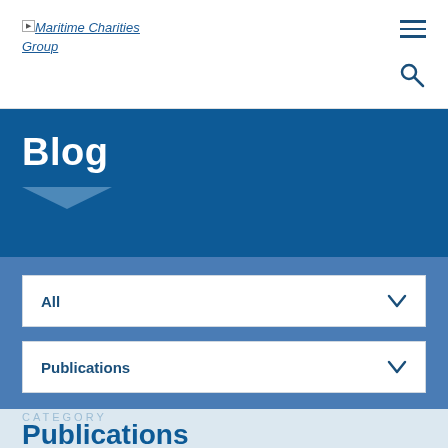Maritime Charities Group
Blog
All
Publications
Publications
Publications
'Navigating Change – A Review of the UK